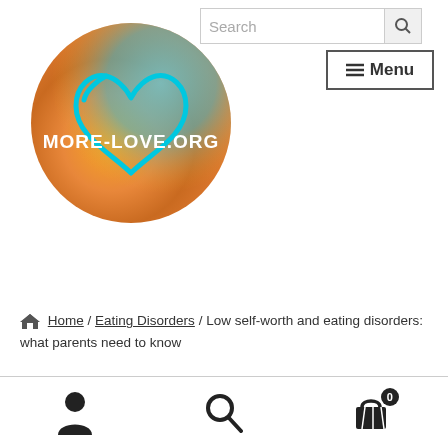[Figure (logo): MORE-LOVE.ORG website logo: circular watercolor background blending teal/blue and orange, with a large cyan heart outline drawn in the center. White bold text reads MORE-LOVE.ORG across the middle.]
Search
≡ Menu
Home / Eating Disorders / Low self-worth and eating disorders: what parents need to know